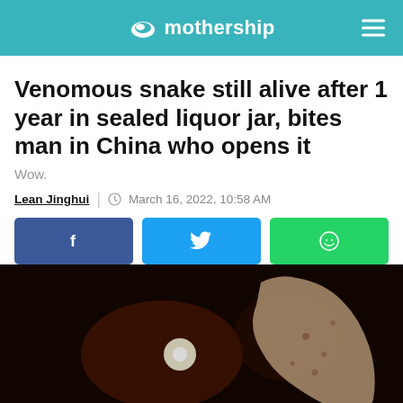mothership
Venomous snake still alive after 1 year in sealed liquor jar, bites man in China who opens it
Wow.
Lean Jinghui | March 16, 2022, 10:58 AM
[Figure (other): Social share buttons: Facebook, Twitter, WhatsApp]
[Figure (photo): Dark image showing a hand with what appears to be a snake bite wound, illuminated against a dark background]